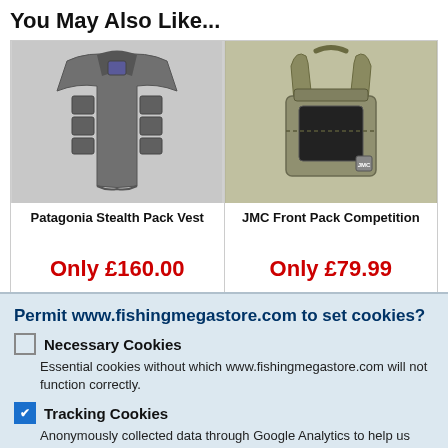You May Also Like...
[Figure (photo): Patagonia Stealth Pack Vest - grey fishing vest with multiple pockets]
Patagonia Stealth Pack Vest
Only £160.00
More info...
[Figure (photo): JMC Front Pack Competition - olive/khaki fishing front pack with shoulder straps]
JMC Front Pack Competition
Only £79.99
More info...
Permit www.fishingmegastore.com to set cookies?
Necessary Cookies
Essential cookies without which www.fishingmegastore.com will not function correctly.
Tracking Cookies
Anonymously collected data through Google Analytics to help us understand how you interact with www.fishingmegastore.com.
Okay.